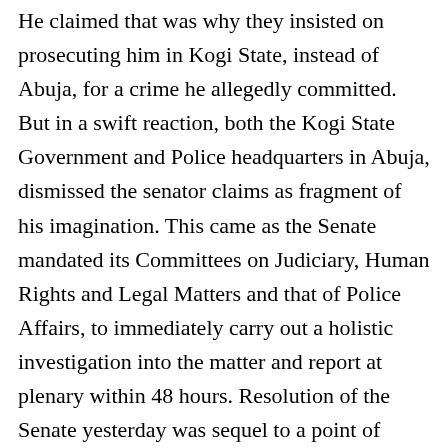He claimed that was why they insisted on prosecuting him in Kogi State, instead of Abuja, for a crime he allegedly committed. But in a swift reaction, both the Kogi State Government and Police headquarters in Abuja, dismissed the senator claims as fragment of his imagination. This came as the Senate mandated its Committees on Judiciary, Human Rights and Legal Matters and that of Police Affairs, to immediately carry out a holistic investigation into the matter and report at plenary within 48 hours. Resolution of the Senate yesterday was sequel to a point of Order raised by Senator Isa Hamman Misau, APC, Bauchi who told his colleagues that the Police